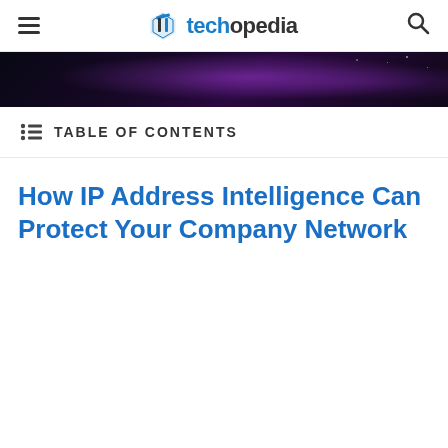techopedia
[Figure (photo): Dark space/galaxy hero image with purple nebula lighting]
TABLE OF CONTENTS
How IP Address Intelligence Can Protect Your Company Network